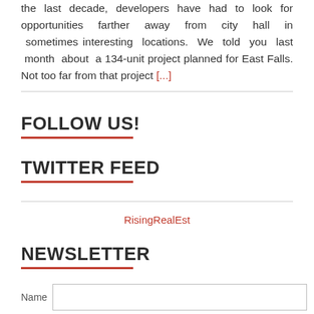the last decade, developers have had to look for opportunities farther away from city hall in sometimes interesting locations. We told you last month about a 134-unit project planned for East Falls. Not too far from that project [...]
FOLLOW US!
TWITTER FEED
RisingRealEst
NEWSLETTER
Name